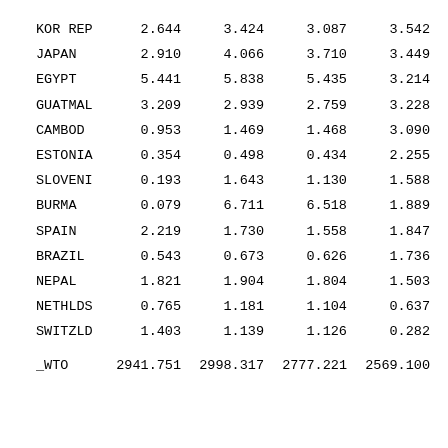| Country | Col1 | Col2 | Col3 | Col4 |
| --- | --- | --- | --- | --- |
| KOR REP | 2.644 | 3.424 | 3.087 | 3.542 |
| JAPAN | 2.910 | 4.066 | 3.710 | 3.449 |
| EGYPT | 5.441 | 5.838 | 5.435 | 3.214 |
| GUATMAL | 3.209 | 2.939 | 2.759 | 3.228 |
| CAMBOD | 0.953 | 1.469 | 1.468 | 3.090 |
| ESTONIA | 0.354 | 0.498 | 0.434 | 2.255 |
| SLOVENI | 0.193 | 1.643 | 1.130 | 1.588 |
| BURMA | 0.079 | 6.711 | 6.518 | 1.889 |
| SPAIN | 2.219 | 1.730 | 1.558 | 1.847 |
| BRAZIL | 0.543 | 0.673 | 0.626 | 1.736 |
| NEPAL | 1.821 | 1.904 | 1.804 | 1.503 |
| NETHLDS | 0.765 | 1.181 | 1.104 | 0.637 |
| SWITZLD | 1.403 | 1.139 | 1.126 | 0.282 |
| _WTO | 2941.751 | 2998.317 | 2777.221 | 2569.100 |